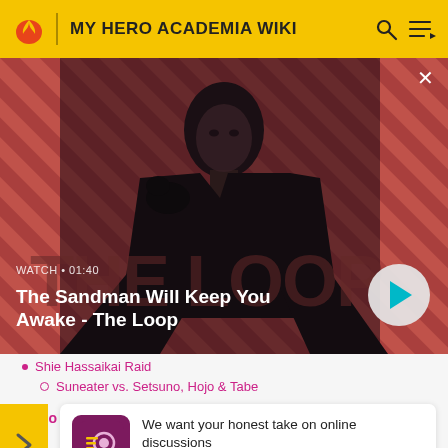MY HERO ACADEMIA WIKI
[Figure (screenshot): Video banner showing a dark figure in a black cloak with a raven on his shoulder against a red/pink diagonal striped background. Text overlay: WATCH • 01:40 / The Sandman Will Keep You Awake - The Loop. Play button on the right.]
Shie Hassaikai Raid
Suneater vs. Setsuno, Hojo & Tabe
Endo
[Figure (infographic): Survey card with purple icon showing camera/survey graphic. Text: We want your honest take on online discussions. SURVEY: ONLINE FORUMS]
H